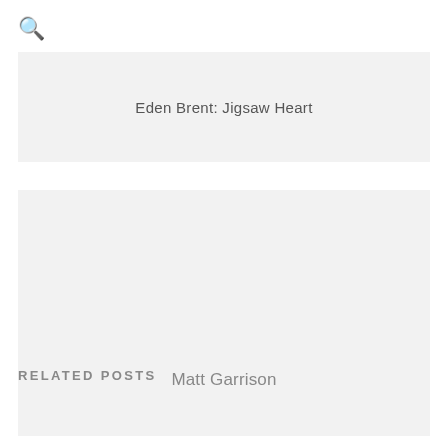[Figure (other): Search icon (magnifying glass) in top left corner]
[Figure (other): Gray card placeholder with text 'Eden Brent: Jigsaw Heart' centered]
[Figure (other): Large gray card placeholder with text 'Matt Garrison' near bottom center]
RELATED POSTS
[Figure (other): Gray bar at bottom, partial related posts card]